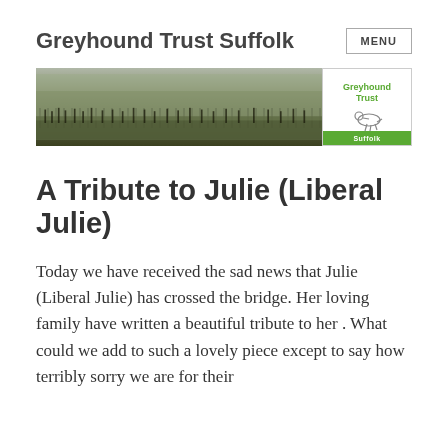Greyhound Trust Suffolk
[Figure (photo): A wide banner image showing silhouettes of people and dogs on a field with a grey overcast sky. On the right side is the Greyhound Trust Suffolk logo with a stylized greyhound dog illustration and a green bar at the bottom reading 'Suffolk'.]
A Tribute to Julie (Liberal Julie)
Today we have received the sad news that Julie (Liberal Julie) has crossed the bridge. Her loving family have written a beautiful tribute to her . What could we add to such a lovely piece except to say how terribly sorry we are for their